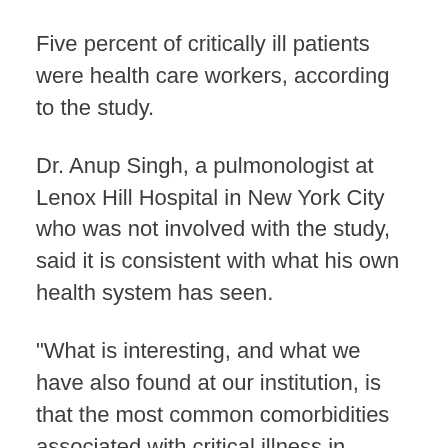Five percent of critically ill patients were health care workers, according to the study.
Dr. Anup Singh, a pulmonologist at Lenox Hill Hospital in New York City who was not involved with the study, said it is consistent with what his own health system has seen.
"What is interesting, and what we have also found at our institution, is that the most common comorbidities associated with critical illness in SARS-CoV2-infected patients are high blood pressure, diabetes and vascular disease [renal and cardiac], and not chronic pulmonary disease," he said.
As more is learned about progression of the disease, treatment strategies will change and